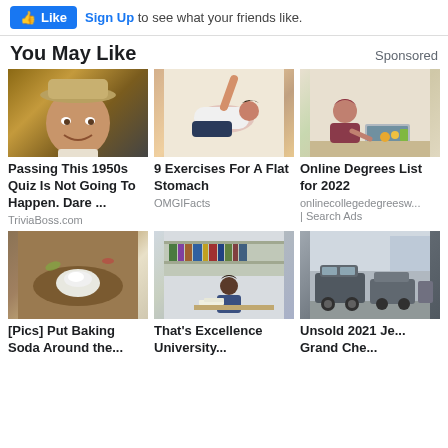Like  Sign Up to see what your friends like.
You May Like
Sponsored
[Figure (photo): Smiling older man wearing a hat - John Wayne style]
Passing This 1950s Quiz Is Not Going To Happen. Dare ...
TriviaBoss.com
[Figure (photo): Fit woman in athletic wear doing exercises]
9 Exercises For A Flat Stomach
OMGIFacts
[Figure (photo): Woman studying at table with laptop and fruits]
Online Degrees List for 2022
onlinecollegedegreesw...
| Search Ads
[Figure (photo): Baking soda powder in dirt/soil]
[Pics] Put Baking Soda Around the...
[Figure (photo): Woman working at desk in office/studio]
That's Excellence University...
[Figure (photo): Row of Jeep SUVs in a parking lot]
Unsold 2021 Je... Grand Che...